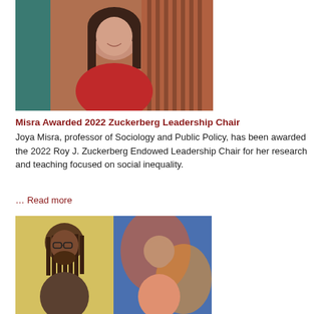[Figure (photo): Headshot of Joya Misra, a woman with long dark hair wearing a red top, photographed outdoors in front of a brick building.]
Misra Awarded 2022 Zuckerberg Leadership Chair
Joya Misra, professor of Sociology and Public Policy, has been awarded the 2022 Roy J. Zuckerberg Endowed Leadership Chair for her research and teaching focused on social inequality.
… Read more
[Figure (photo): Two men photographed side by side. Left: a man with long dreadlocks and a beard wearing glasses and a vest. Right: a man in a salmon-colored shirt standing in front of a colorful mural.]